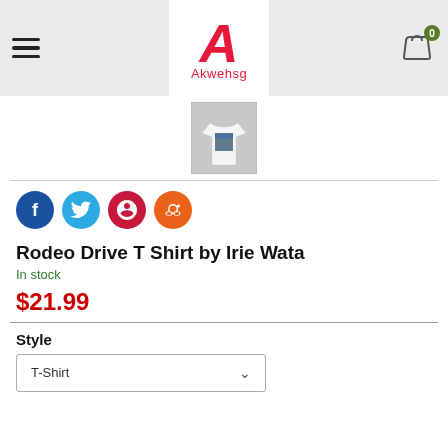[Figure (logo): Akwehsg store logo with large red italic A and brand name below]
[Figure (photo): Thumbnail of a white t-shirt with a photo print, worn by a model]
[Figure (infographic): Social share buttons: Facebook (blue), Twitter (light blue), Pinterest (dark red), Reddit (orange)]
Rodeo Drive T Shirt by Irie Wata
In stock
$21.99
Style
T-Shirt